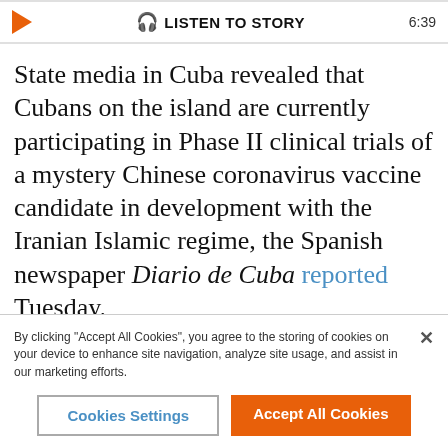🎧 LISTEN TO STORY  6:39
State media in Cuba revealed that Cubans on the island are currently participating in Phase II clinical trials of a mystery Chinese coronavirus vaccine candidate in development with the Iranian Islamic regime, the Spanish newspaper Diario de Cuba reported Tuesday.
The alleged coronavirus vaccine candidate is the product of the Pasteur Institute of Iran and an unnamed Cuban company, according to Kianoush Jahanpour, a spokesman for Iran's Food and Drug Administration (IFDA). The human trials, according to
By clicking "Accept All Cookies", you agree to the storing of cookies on your device to enhance site navigation, analyze site usage, and assist in our marketing efforts.
Cookies Settings
Accept All Cookies